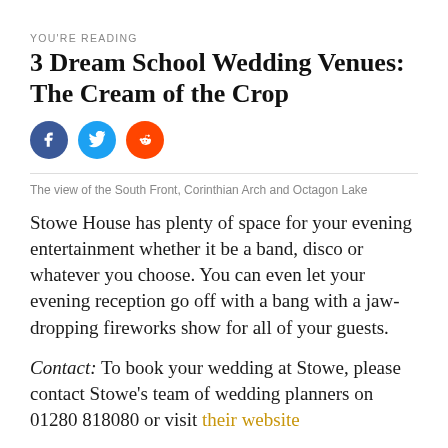YOU'RE READING
3 Dream School Wedding Venues: The Cream of the Crop
[Figure (illustration): Three social media share buttons: Facebook (dark blue circle with 'f'), Twitter (light blue circle with bird icon), Reddit (orange circle with alien logo)]
The view of the South Front, Corinthian Arch and Octagon Lake
Stowe House has plenty of space for your evening entertainment whether it be a band, disco or whatever you choose. You can even let your evening reception go off with a bang with a jaw-dropping fireworks show for all of your guests.
Contact: To book your wedding at Stowe, please contact Stowe's team of wedding planners on 01280 818080 or visit their website